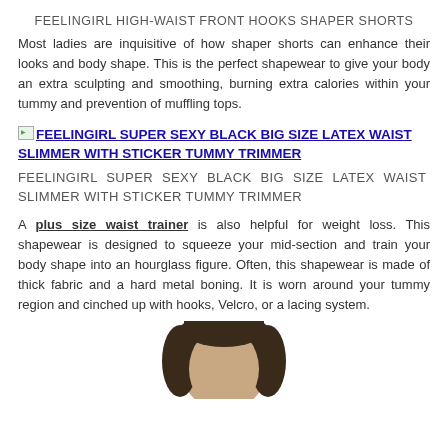FEELINGIRL HIGH-WAIST FRONT HOOKS SHAPER SHORTS
Most ladies are inquisitive of how shaper shorts can enhance their looks and body shape. This is the perfect shapewear to give your body an extra sculpting and smoothing, burning extra calories within your tummy and prevention of muffling tops.
FEELINGIRL SUPER SEXY BLACK BIG SIZE LATEX WAIST SLIMMER WITH STICKER TUMMY TRIMMER (link with image placeholder)
FEELINGIRL SUPER SEXY BLACK BIG SIZE LATEX WAIST SLIMMER WITH STICKER TUMMY TRIMMER
A plus size waist trainer is also helpful for weight loss. This shapewear is designed to squeeze your mid-section and train your body shape into an hourglass figure. Often, this shapewear is made of thick fabric and a hard metal boning. It is worn around your tummy region and cinched up with hooks, Velcro, or a lacing system.
[Figure (photo): Top of a woman's head with dark hair, cropped photo showing from top of head to about chin level]